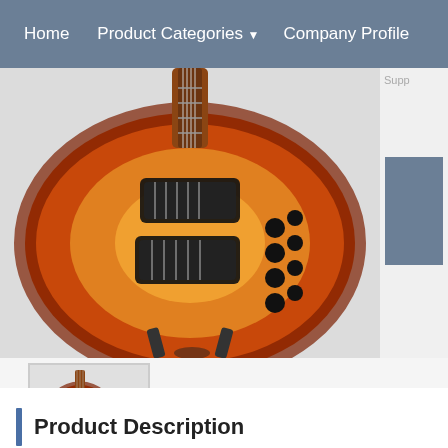Home   Product Categories ▾   Company Profile
[Figure (photo): Close-up photo of a Spector Legend 4 String Electric Bass guitar body, orange/cherry sunburst finish, with two black humbucking pickups and black hardware, displayed on a guitar stand against a light grey background]
[Figure (photo): Small thumbnail image of the full Spector Legend 4 String Electric Bass guitar, showing the whole body in orange/cherry finish on a stand]
Product Description
For your consideration is a Spector Legend 4 String Electric
The bass needs to be setup to suit your specific playing needs and intonated.
There are some dings, scratches, and scuffs throughout the